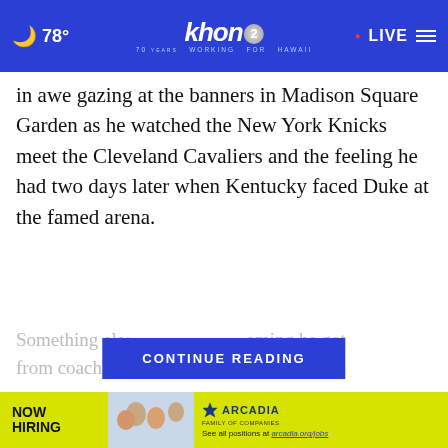KHON2 - Working for Hawaii | 78° | LIVE
in awe gazing at the banners in Madison Square Garden as he watched the New York Knicks meet the Cleveland Cavaliers and the feeling he had two days later when Kentucky faced Duke at the famed arena.
Something else ... aming he got from coach... unmatched
[Figure (screenshot): CONTINUE READING button overlay in blue]
[Figure (advertisement): WAKE UP EVERY MORNING IN HAWAII advertisement banner with tropical background]
[Figure (advertisement): NOW HIRING - Arcadia Family of Companies. See all positions at arcadia.org/jobs]